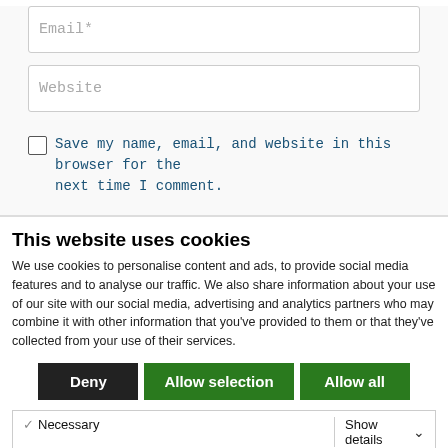Email*
Website
Save my name, email, and website in this browser for the next time I comment.
This website uses cookies
We use cookies to personalise content and ads, to provide social media features and to analyse our traffic. We also share information about your use of our site with our social media, advertising and analytics partners who may combine it with other information that you've provided to them or that they've collected from your use of their services.
Deny | Allow selection | Allow all
Necessary  Preferences  Statistics  Marketing  Show details